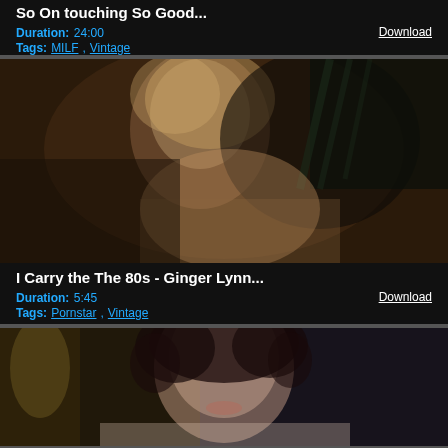So On touching So Good...
Duration: 24:00
Tags: MILF, Vintage
Download
[Figure (photo): Vintage adult film still, woman with blonde hair]
I Carry the The 80s - Ginger Lynn...
Duration: 5:45
Tags: Pornstar, Vintage
Download
[Figure (photo): Vintage adult film still, woman with curly dark hair]